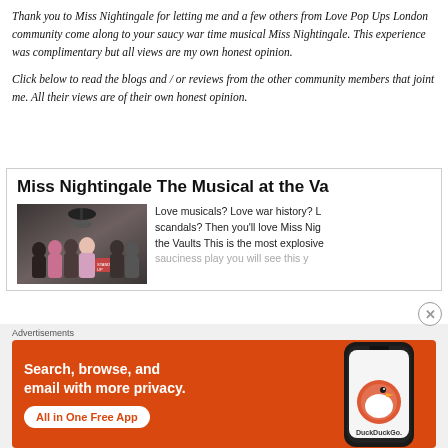Thank you to Miss Nightingale for letting me and a few others from Love Pop Ups London community come along to your saucy war time musical Miss Nightingale. This experience was complimentary but all views are my own honest opinion.
Click below to read the blogs and / or reviews from the other community members that joint me. All their views are of their own honest opinion.
Miss Nightingale The Musical at the Va
[Figure (photo): Group photo of women posing together in what appears to be a dimly lit venue or backstage area, some holding signs]
Love musicals? Love war history? L scandals? Then you'll love Miss Nig the Vaults This is the most explosive sauciness play you will see this y
Advertisements
[Figure (other): DuckDuckGo advertisement banner: Search, browse, and email with more privacy. All in One Free App. Shows a smartphone with DuckDuckGo app on an orange background.]